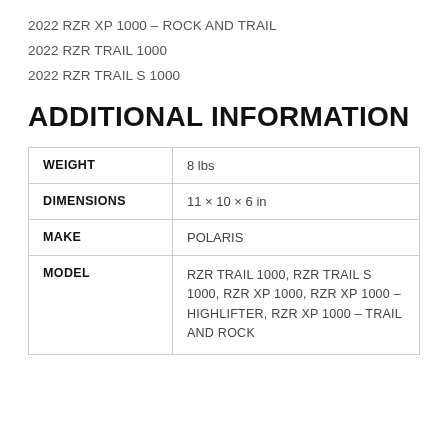2022 RZR XP 1000 – ROCK AND TRAIL
2022 RZR TRAIL 1000
2022 RZR TRAIL S 1000
ADDITIONAL INFORMATION
| Weight | 8 lbs |
| Dimensions | 11 × 10 × 6 in |
| MAKE | POLARIS |
| MODEL | RZR TRAIL 1000, RZR TRAIL S 1000, RZR XP 1000, RZR XP 1000 – HIGHLIFTER, RZR XP 1000 – TRAIL AND ROCK |